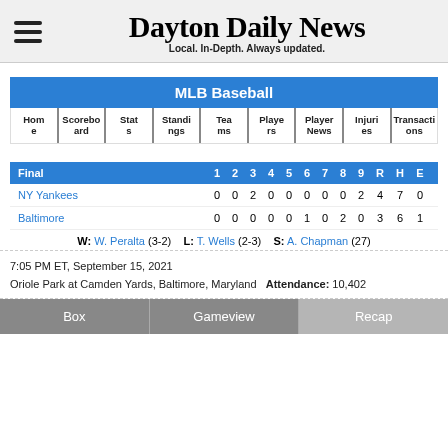Dayton Daily News — Local. In-Depth. Always updated.
| Home | Scoreboard | Stats | Standings | Teams | Players | Player News | Injuries | Transactions |
| --- | --- | --- | --- | --- | --- | --- | --- | --- |
| Final | 1 | 2 | 3 | 4 | 5 | 6 | 7 | 8 | 9 | R | H | E |
| --- | --- | --- | --- | --- | --- | --- | --- | --- | --- | --- | --- | --- |
| NY Yankees | 0 | 0 | 2 | 0 | 0 | 0 | 0 | 0 | 2 | 4 | 7 | 0 |
| Baltimore | 0 | 0 | 0 | 0 | 0 | 1 | 0 | 2 | 0 | 3 | 6 | 1 |
W: W. Peralta (3-2)   L: T. Wells (2-3)   S: A. Chapman (27)
7:05 PM ET, September 15, 2021
Oriole Park at Camden Yards, Baltimore, Maryland   Attendance: 10,402
Box   Gameview   Recap